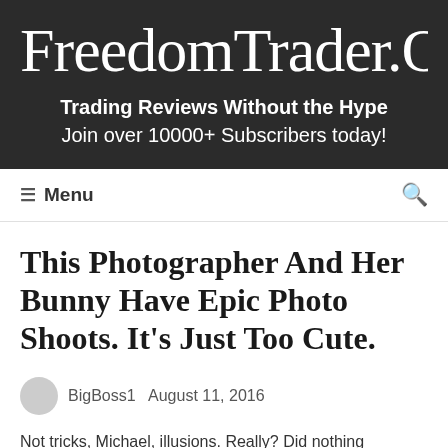FreedomTrader.O
Trading Reviews Without the Hype
Join over 10000+ Subscribers today!
≡ Menu
This Photographer And Her Bunny Have Epic Photo Shoots. It's Just Too Cute.
BigBoss1   August 11, 2016
Not tricks, Michael, illusions. Really? Did nothing